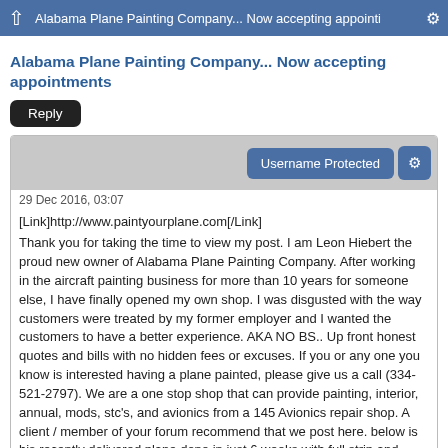Alabama Plane Painting Company... Now accepting appointments
Alabama Plane Painting Company... Now accepting appointments
Reply
Username Protected
29 Dec 2016, 03:07
[Link]http://www.paintyourplane.com[/Link]
Thank you for taking the time to view my post. I am Leon Hiebert the proud new owner of Alabama Plane Painting Company. After working in the aircraft painting business for more than 10 years for someone else, I have finally opened my own shop. I was disgusted with the way customers were treated by my former employer and I wanted the customers to have a better experience. AKA NO BS.. Up front honest quotes and bills with no hidden fees or excuses. If you or any one you know is interested having a plane painted, please give us a call (334-521-2797). We are a one stop shop that can provide painting, interior, annual, mods, stc's, and avionics from a 145 Avionics repair shop. A client / member of your forum recommend that we post here. below is his recently delivered plane done in just 6 weeks with full strip and paint to the 2016 paint scheme at price lower than you would expect.
Please login or Register for a free account via the link in the red bar above to download files.